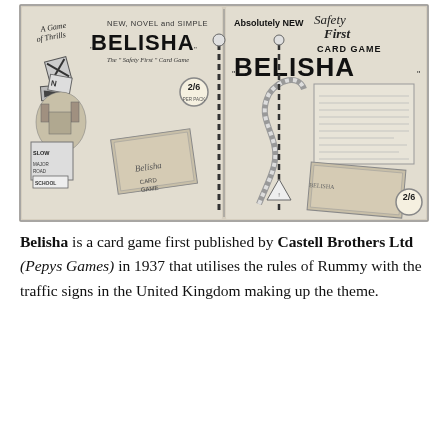[Figure (illustration): Two vintage advertisements for the Belisha card game by Castell Brothers Ltd (Pepys Games). Left ad shows 'A Game of Thrills, NEW, NOVEL and SIMPLE BELISHA The Safety First Card Game' with illustrations of traffic signs, a castle, road signs including SLOW, MAJOR ROAD, SCHOOL, and a card game box, priced at 2/6. Right ad shows 'Absolutely NEW Safety First CARD GAME BELISHA' with a road map illustration and a box, also priced at 2/6.]
Belisha is a card game first published by Castell Brothers Ltd (Pepys Games) in 1937 that utilises the rules of Rummy with the traffic signs in the United Kingdom making up the theme.